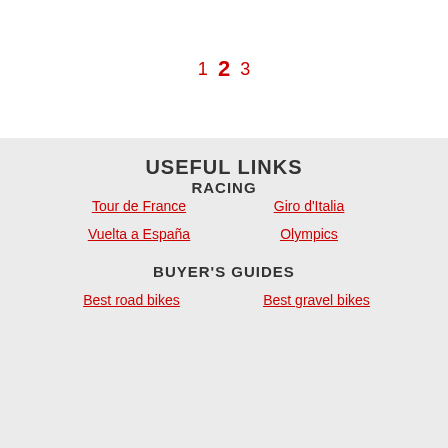1  2  3
USEFUL LINKS
RACING
Tour de France
Giro d'Italia
Vuelta a España
Olympics
BUYER'S GUIDES
Best road bikes
Best gravel bikes